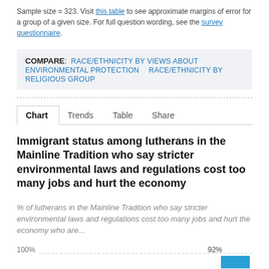Sample size = 323. Visit this table to see approximate margins of error for a group of a given size. For full question wording, see the survey questionnaire.
COMPARE: RACE/ETHNICITY BY VIEWS ABOUT ENVIRONMENTAL PROTECTION  RACE/ETHNICITY BY RELIGIOUS GROUP
Chart | Trends | Table | Share
Immigrant status among lutherans in the Mainline Tradition who say stricter environmental laws and regulations cost too many jobs and hurt the economy
% of lutherans in the Mainline Tradition who say stricter environmental laws and regulations cost too many jobs and hurt the economy who are...
[Figure (bar-chart): Immigrant status among lutherans in the Mainline Tradition who say stricter environmental laws and regulations cost too many jobs and hurt the economy]